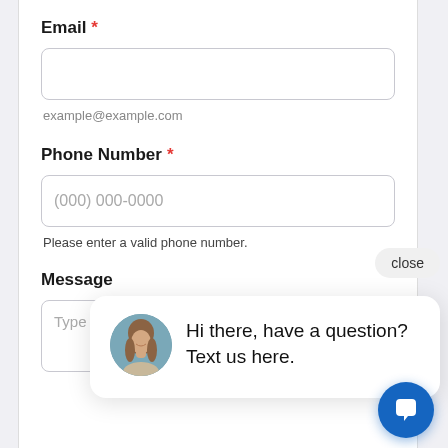Email *
example@example.com
Phone Number *
(000) 000-0000
Please enter a valid phone number.
Message
Type here...
Hi there, have a question? Text us here.
close